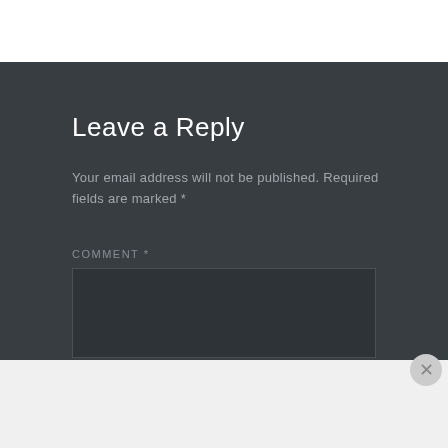Leave a Reply
Your email address will not be published. Required fields are marked *
COMMENT *
[Figure (screenshot): Comment text input area — empty dark textarea]
Advertisements
[Figure (logo): P2 logo — black square with white P2 text]
Getting your team on the same page is easy. And free.